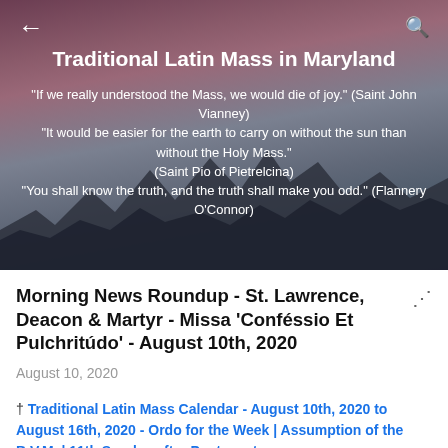Traditional Latin Mass in Maryland
"If we really understood the Mass, we would die of joy." (Saint John Vianney) "It would be easier for the earth to carry on without the sun than without the Holy Mass." (Saint Pio of Pietrelcina) "You shall know the truth, and the truth shall make you odd." (Flannery O'Connor)
Morning News Roundup - St. Lawrence, Deacon & Martyr - Missa 'Conféssio Et Pulchritúdo' - August 10th, 2020
August 10, 2020
† Traditional Latin Mass Calendar - August 10th, 2020 to August 16th, 2020 - Ordo for the Week | Assumption of the B.V.M. | 11th Sunday after Pentecost